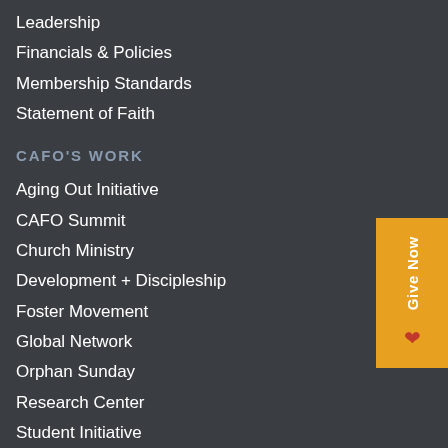Leadership
Financials & Policies
Membership Standards
Statement of Faith
CAFO'S WORK
Aging Out Initiative
CAFO Summit
Church Ministry
Development + Discipleship
Foster Movement
Global Network
Orphan Sunday
Research Center
Student Initiative
GIVE & SERVE
Give
Leave a Legacy
In-Kind Giving